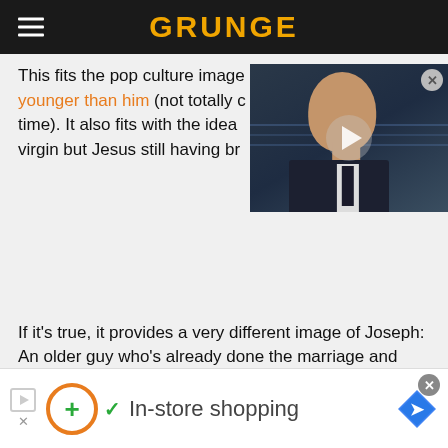GRUNGE
This fits the pop culture image as Mary being much younger than him (not totally c[ut off] time). It also fits with the idea [of Mary being a] virgin but Jesus still having br[others].
[Figure (photo): Video thumbnail showing a bald man in a dark suit against a blurred blue background, with a play button overlay and close button]
If it's true, it provides a very different image of Joseph: An older guy who's already done the marriage and babies thing who has this new wife who's pregnant somehow. But he still steps up to be the best stepdad in the Bible.
JESUS WAS BORN IN A BASEMENT, NOT A
[Figure (infographic): Advertisement banner: In-store shopping with orange circle icon, green plus, green checkmark, and blue map/directions icon]